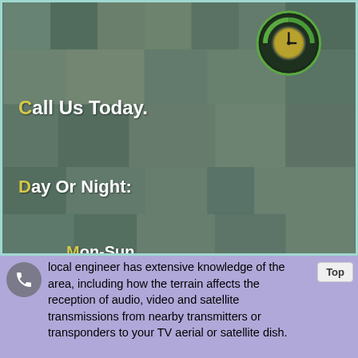[Figure (screenshot): Mosaic pixel-art style background in muted greens and teal tones with a clock/time icon in the top right corner, inside a teal-bordered box. Contains text overlays: 'Call Us Today.', 'Day Or Night:', 'Mon-Sun', 'Storm Damage Repair.', 'Insurance Work.']
local engineer has extensive knowledge of the area, including how the terrain affects the reception of audio, video and satellite transmissions from nearby transmitters or transponders to your TV aerial or satellite dish.